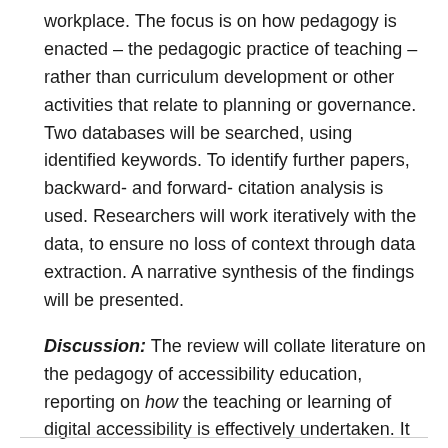workplace. The focus is on how pedagogy is enacted – the pedagogic practice of teaching – rather than curriculum development or other activities that relate to planning or governance. Two databases will be searched, using identified keywords. To identify further papers, backward- and forward- citation analysis is used. Researchers will work iteratively with the data, to ensure no loss of context through data extraction. A narrative synthesis of the findings will be presented.
Discussion: The review will collate literature on the pedagogy of accessibility education, reporting on how the teaching or learning of digital accessibility is effectively undertaken. It will identify the empirical basis for accessibility pedagogy.